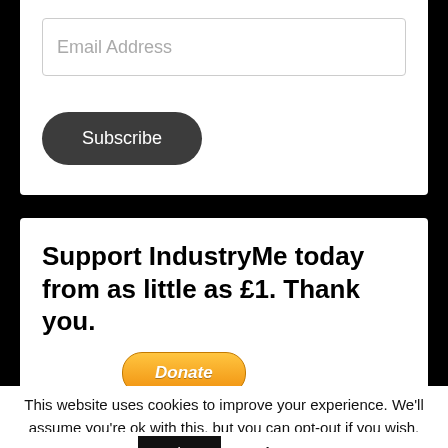Email Address
Subscribe
Support IndustryMe today from as little as £1. Thank you.
[Figure (other): PayPal Donate button with payment icons (Mastercard, Visa, American Express, Direct Debit)]
This website uses cookies to improve your experience. We'll assume you're ok with this, but you can opt-out if you wish.
Accept
Reject
Read More